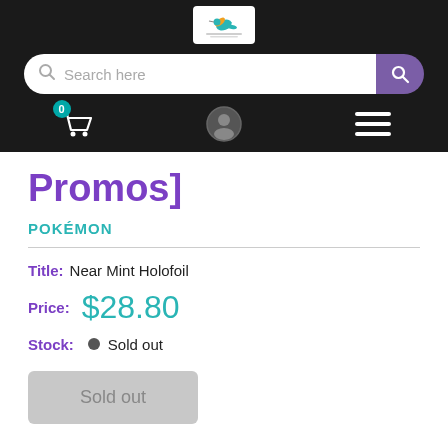[Figure (logo): Store logo with hummingbird icon on white background]
Search here
0
Promos]
POKÉMON
Title: Near Mint Holofoil
Price: $28.80
Stock: Sold out
Sold out